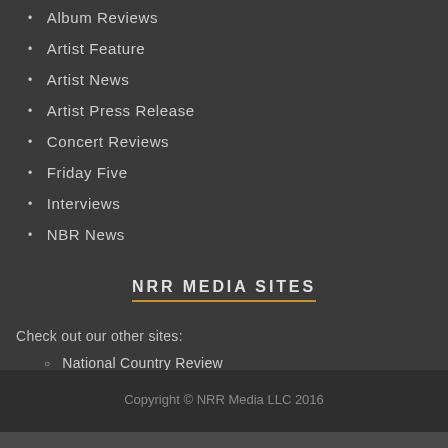Album Reviews
Artist Feature
Artist News
Artist Press Release
Concert Reviews
Friday Five
Interviews
NBR News
NRR MEDIA SITES
Check out our other sites:
National Country Review
National Rock Review
Copyright © NRR Media LLC 2016